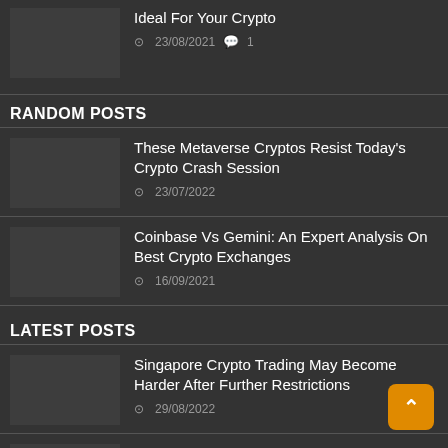Ideal For Your Crypto
23/08/2021  💬 1
RANDOM POSTS
These Metaverse Cryptos Resist Today's Crypto Crash Session — 23/07/2022
Coinbase Vs Gemini: An Expert Analysis On Best Crypto Exchanges — 16/09/2021
LATEST POSTS
Singapore Crypto Trading May Become Harder After Further Restrictions — 29/08/2022
Why Is eCash Coin Surging On A Red Day? — 29/08/2022